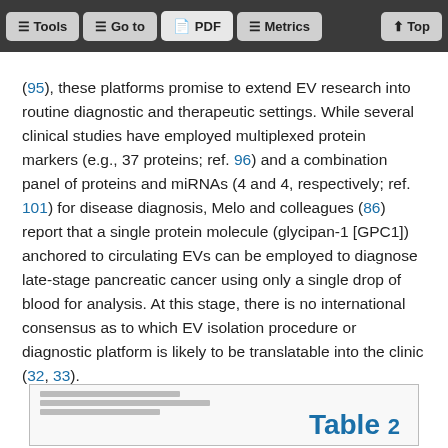Tools | Go to | PDF | Metrics | Top
(95), these platforms promise to extend EV research into routine diagnostic and therapeutic settings. While several clinical studies have employed multiplexed protein markers (e.g., 37 proteins; ref. 96) and a combination panel of proteins and miRNAs (4 and 4, respectively; ref. 101) for disease diagnosis, Melo and colleagues (86) report that a single protein molecule (glycipan-1 [GPC1]) anchored to circulating EVs can be employed to diagnose late-stage pancreatic cancer using only a single drop of blood for analysis. At this stage, there is no international consensus as to which EV isolation procedure or diagnostic platform is likely to be translatable into the clinic (32, 33).
[Figure (table-as-image): Partial view of a table, showing the beginning of Table label in blue text at the bottom right.]